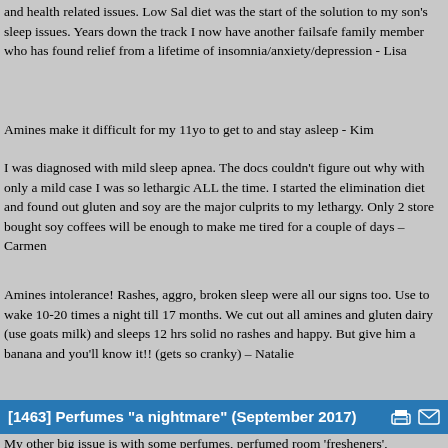and health related issues. Low Sal diet was the start of the solution to my son's sleep issues. Years down the track I now have another failsafe family member who has found relief from a lifetime of insomnia/anxiety/depression - Lisa
Amines make it difficult for my 11yo to get to and stay asleep - Kim
I was diagnosed with mild sleep apnea. The docs couldn't figure out why with only a mild case I was so lethargic ALL the time. I started the elimination diet and found out gluten and soy are the major culprits to my lethargy. Only 2 store bought soy coffees will be enough to make me tired for a couple of days – Carmen
Amines intolerance! Rashes, aggro, broken sleep were all our signs too. Use to wake 10-20 times a night till 17 months. We cut out all amines and gluten dairy (use goats milk) and sleeps 12 hrs solid no rashes and happy. But give him a banana and you'll know it!! (gets so cranky) – Natalie
[1463] Perfumes "a nightmare" (September 2017)
My other big issue is with some perfumes, perfumed room 'fresheners', particularly carpet cleaners and perfumed washing powder.  I have had some serious breathing problems from these. At work at one point they changed to a dreadful 'rose' perfumed air freshener, which affected me immediately, firstly my lips felt like they were burning and then swelled up, one eye swelled and breathing became difficult. No-one else in the office could smell